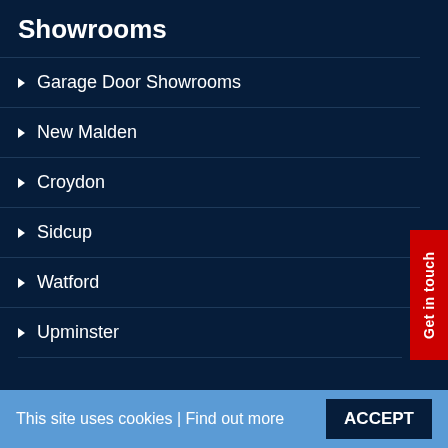Showrooms
Garage Door Showrooms
New Malden
Croydon
Sidcup
Watford
Upminster
Guides
How to Order
Choose The Door For You
Get in touch
This site uses cookies | Find out more   ACCEPT